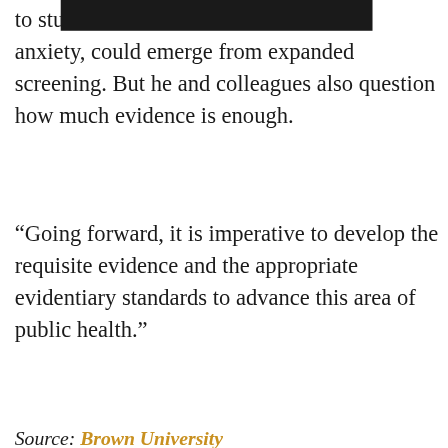to stud[REDACTED]s anxiety, could emerge from expanded screening. But he and colleagues also question how much evidence is enough.
“Going forward, it is imperative to develop the requisite evidence and the appropriate evidentiary standards to advance this area of public health.”
Source: Brown University
Original Study    DOI: 10.1001/jama.2016.9850
SCIENCE    HEALTH    CULTURE    ENVIRONMENT